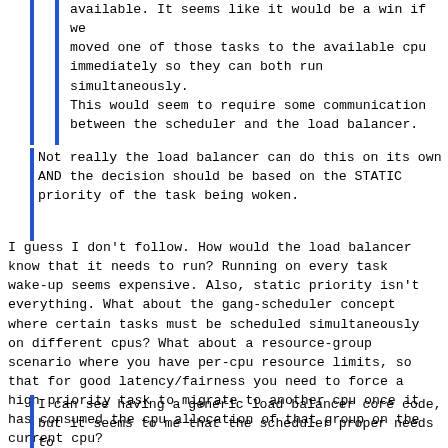available. It seems like it would be a win if we moved one of those tasks to the available cpu immediately so they can both run simultaneously. This would seem to require some communication between the scheduler and the load balancer.
Not really the load balancer can do this on its own AND the decision should be based on the STATIC priority of the task being woken.
I guess I don't follow. How would the load balancer know that it needs to run? Running on every task wake-up seems expensive. Also, static priority isn't everything. What about the gang-scheduler concept where certain tasks must be scheduled simultaneously on different cpus? What about a resource-group scenario where you have per-cpu resource limits, so that for good latency/fairness you need to force a high priority task to migrate to another cpu once it has consumed the cpu allocation of that group on the current cpu?
I can see having a generic load balancer core code, but it seems to me that the scheduler proper needs to have some way of triggering the load balancer to run,
It doesn't have to be closely coupled with the load balancer to does this. It just needs to know where the trigger is.